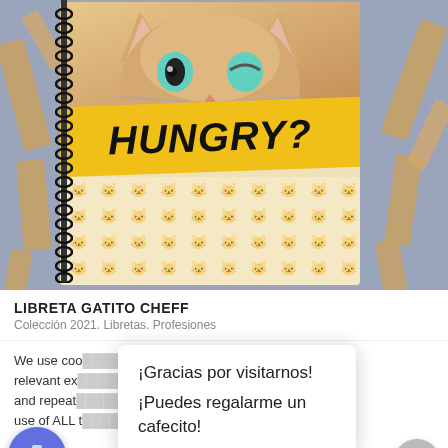[Figure (photo): A spiral-bound notebook with a cat face graphic and yellow 'HUNGRY?' banner on the cover, surrounded by wooden letter cutouts on a purple/blue background.]
LIBRETA GATITO CHEFF
Colección 2021. Libretas. Profesiones
We use coo... ost relevant ex... ences and repeat... t to the use of ALL t...
¡Gracias por visitarnos! ¡Puedes regalarme un cafecito!